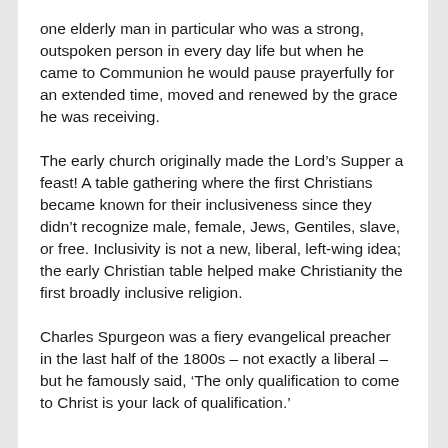one elderly man in particular who was a strong, outspoken person in every day life but when he came to Communion he would pause prayerfully for an extended time, moved and renewed by the grace he was receiving.
The early church originally made the Lord’s Supper a feast! A table gathering where the first Christians became known for their inclusiveness since they didn’t recognize male, female, Jews, Gentiles, slave, or free. Inclusivity is not a new, liberal, left-wing idea; the early Christian table helped make Christianity the first broadly inclusive religion.
Charles Spurgeon was a fiery evangelical preacher in the last half of the 1800s – not exactly a liberal – but he famously said, ‘The only qualification to come to Christ is your lack of qualification.’